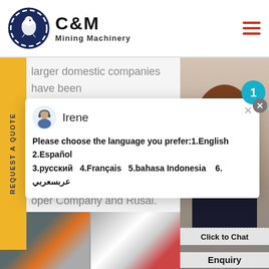[Figure (logo): C&M Mining Machinery logo with eagle in gear icon and company name text]
larger domestic companies have been established by local entrepreneurs. Large foreign
Please choose the language you prefer:1.English  2.Español 3.русский  4.Français  5.bahasa Indonesia   6. عربسعربي
va Sa, ArcelorMittal, Yildirim Gro oper Company and Rusal.
[Figure (photo): Industrial machinery photos at bottom of page]
[Figure (photo): Operator woman with headset, click to chat widget]
Click to Chat
Enquiry